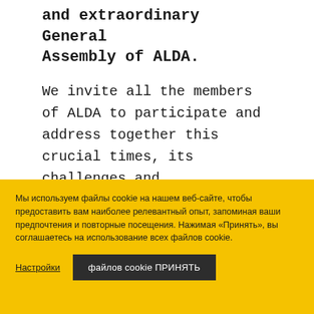and extraordinary General Assembly of ALDA.
We invite all the members of ALDA to participate and address together this crucial times, its challenges and opportunities. We also welcome everybody to participate to the final conference of the
Мы используем файлы cookie на нашем веб-сайте, чтобы предоставить вам наиболее релевантный опыт, запоминая ваши предпочтения и повторные посещения. Нажимая «Принять», вы соглашаетесь на использование всех файлов cookie.
Настройки | файлов cookie ПРИНЯТЬ